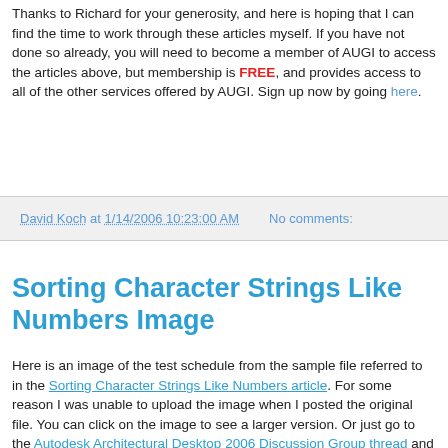Thanks to Richard for your generosity, and here is hoping that I can find the time to work through these articles myself. If you have not done so already, you will need to become a member of AUGI to access the articles above, but membership is FREE, and provides access to all of the other services offered by AUGI. Sign up now by going here.
David Koch at 1/14/2006 10:23:00 AM   No comments:
Sorting Character Strings Like Numbers Image
Here is an image of the test schedule from the sample file referred to in the Sorting Character Strings Like Numbers article. For some reason I was unable to upload the image when I posted the original file. You can click on the image to see a larger version. Or just go to the Autodesk Architectural Desktop 2006 Discussion Group thread and download the sample file and check it out for yourself.